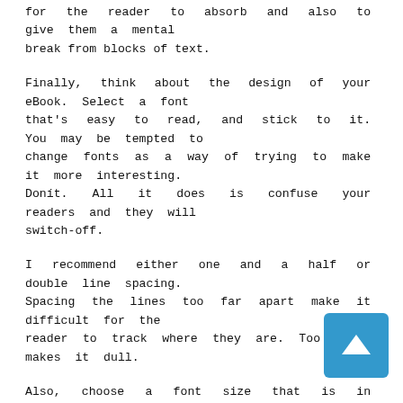for the reader to absorb and also to give them a mental break from blocks of text.
Finally, think about the design of your eBook. Select a font that's easy to read, and stick to it. You may be tempted to change fonts as a way of trying to make it more interesting. Donít. All it does is confuse your readers and they will switch-off.
I recommend either one and a half or double line spacing. Spacing the lines too far apart make it difficult for the reader to track where they are. Too close makes it dull.
Also, choose a font size that is in proportion to the line spacing you are using. You can get away with a larger font (say 14 point) with 1.5 line spacing but 8 point will look weird. Experiment with different combinations to find one that suits you but remember – what looks OK on the screen may look dreadful in print. Think about how your readers are probably going to read the final eBook (most print PDF eBooks ñ the idea of the paperless world is myth!).
Lastly, add page numbers and a header to each page with the title of your eBook. Iíve lost count of the number of times I